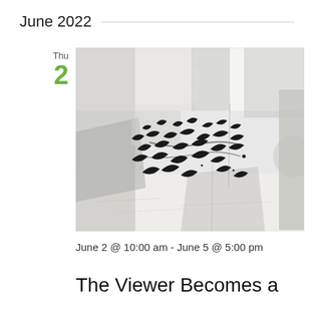June 2022
Thu
2
[Figure (illustration): Abstract black and white artwork with torn paper collage elements and dark gestural marks resembling bird-like figures or calligraphic strokes against a grey and white layered background]
June 2 @ 10:00 am - June 5 @ 5:00 pm
The Viewer Becomes a